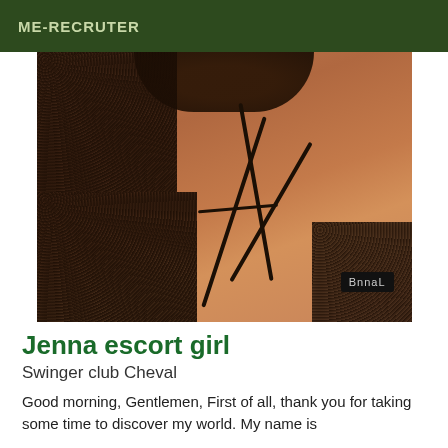ME-RECRUTER
[Figure (photo): A person wearing black lace lingerie lying on white sheets, with a watermark reading 'BnnaL' in the bottom right corner of the image.]
Jenna escort girl
Swinger club Cheval
Good morning, Gentlemen, First of all, thank you for taking some time to discover my world. My name is